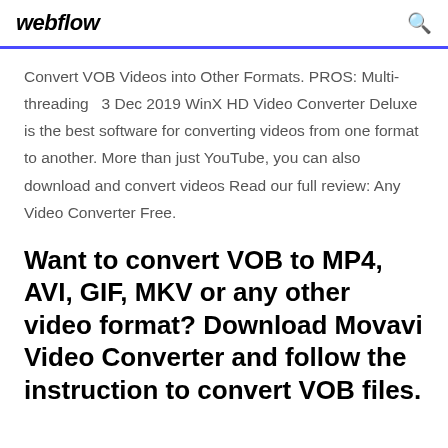webflow
Convert VOB Videos into Other Formats. PROS: Multi-threading  3 Dec 2019 WinX HD Video Converter Deluxe is the best software for converting videos from one format to another. More than just YouTube, you can also download and convert videos Read our full review: Any Video Converter Free.
Want to convert VOB to MP4, AVI, GIF, MKV or any other video format? Download Movavi Video Converter and follow the instruction to convert VOB files.